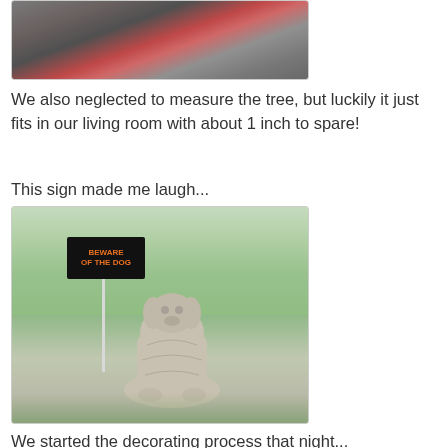[Figure (photo): Partial view of a photo showing what appears to be a Christmas tree lot with red cart or fence, viewed from above]
We also neglected to measure the tree, but luckily it just fits in our living room with about 1 inch to spare!
This sign made me laugh...
[Figure (photo): Photo of a garden center or Christmas tree lot with a 'BEWARE OF THE DOG' sign next to a stone/concrete dog statue, surrounded by potted trees and plants]
We started the decorating process that night...